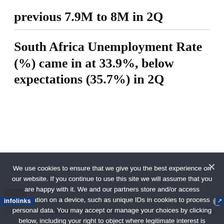previous 7.9M to 8M in 2Q
South Africa Unemployment Rate (%) came in at 33.9%, below expectations (35.7%) in 2Q
We use cookies to ensure that we give you the best experience on our website. If you continue to use this site we will assume that you are happy with it. We and our partners store and/or access information on a device, such as unique IDs in cookies to process personal data. You may accept or manage your choices by clicking below, including your right to object where legitimate interest is used, or at any time in the privacy policy page. These choices will be signalled to our partners and will not affect browsing data. We and our partners process data to provide: Use precise geolocation data. Actively scan device characteristics for identification. Store and/or
[Figure (other): Advertisement banner for Belk.com showing Belk Official Site with product images, description 'Shop for clothing, handbags, jewelry, beauty, home & more!' and URL www.belk.com, with infolinks label and navigation arrow]